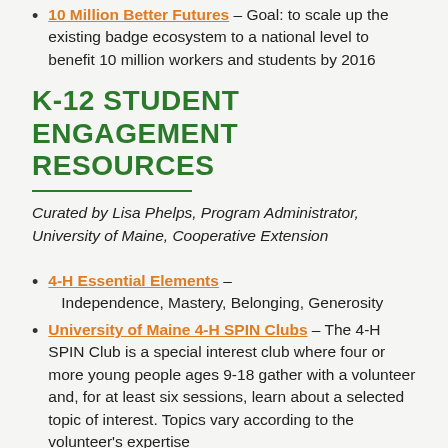10 Million Better Futures – Goal: to scale up the existing badge ecosystem to a national level to benefit 10 million workers and students by 2016
K-12 STUDENT ENGAGEMENT RESOURCES
Curated by Lisa Phelps, Program Administrator, University of Maine, Cooperative Extension
4-H Essential Elements – Independence, Mastery, Belonging, Generosity
University of Maine 4-H SPIN Clubs – The 4-H SPIN Club is a special interest club where four or more young people ages 9-18 gather with a volunteer and, for at least six sessions, learn about a selected topic of interest. Topics vary according to the volunteer's expertise